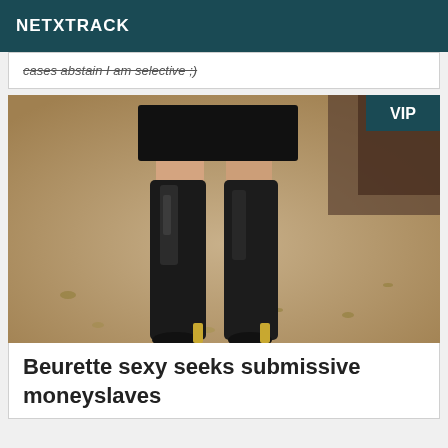NETXTRACK
cases abstain I am selective ;)
[Figure (photo): Back view of a person wearing a black leather mini skirt and tall black over-the-knee boots with gold heels, standing on a gravel surface. A teal VIP badge appears in the top-right corner of the image.]
Beurette sexy seeks submissive moneyslaves